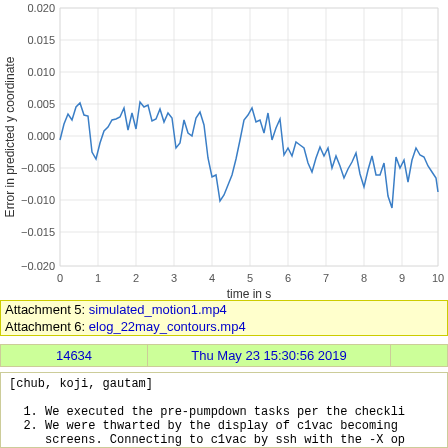[Figure (continuous-plot): Line chart showing error in predicted y coordinate (y-axis, range -0.020 to 0.020) vs time in s (x-axis, range 0 to 10). Blue oscillating line with decreasing amplitude over time.]
Attachment 5: simulated_motion1.mp4
Attachment 6: elog_22may_contours.mp4
| 14634 | Thu May 23 15:30:56 2019 |  |
| --- | --- | --- |
[chub, koji, gautam]

  1. We executed the pre-pumpdown tasks per the checkli
  2. We were thwarted by the display of c1vac becoming
     screens. Connecting to c1vac by ssh with the -X op